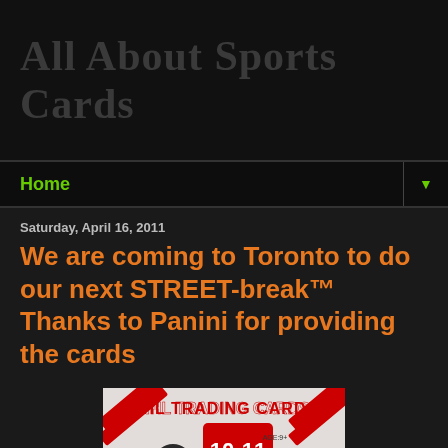All About Sports Cards
Home
Saturday, April 16, 2011
We are coming to Toronto to do our next STREET-break™ Thanks to Panini for providing the cards
[Figure (photo): NHL Trading Cards 10-11 Donruss hockey card box, showing a hockey player in helmet, with NHL logo and Donruss branding. Text reads 'NHL TRADING CARDS', '10-11', 'AGE:9+']